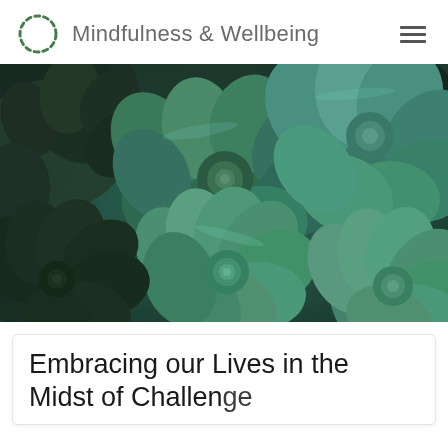Mindfulness & Wellbeing
[Figure (photo): Close-up photograph of green succulent plants with rounded leaves, various shades of teal and dark green, filling the entire frame.]
Embracing our Lives in the Midst of Challenge